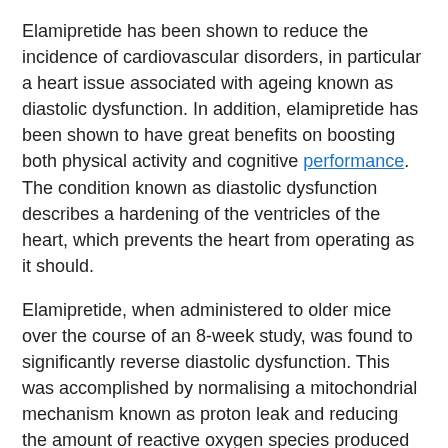Elamipretide has been shown to reduce the incidence of cardiovascular disorders, in particular a heart issue associated with ageing known as diastolic dysfunction. In addition, elamipretide has been shown to have great benefits on boosting both physical activity and cognitive performance. The condition known as diastolic dysfunction describes a hardening of the ventricles of the heart, which prevents the heart from operating as it should.
Elamipretide, when administered to older mice over the course of an 8-week study, was found to significantly reverse diastolic dysfunction. This was accomplished by normalising a mitochondrial mechanism known as proton leak and reducing the amount of reactive oxygen species produced by mitochondria in cardiac muscle cells. According to the findings of the study, age-related cardiac problems may be reversible if mitochondrial dysfunction is treated. [Citation needed] [Citation needed]